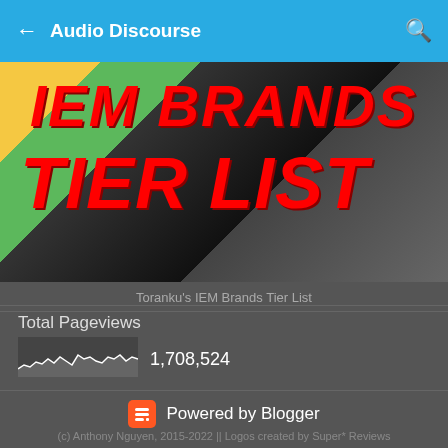← Audio Discourse 🔍
[Figure (photo): Thumbnail image showing IEM Brands Tier List with bold red italic text overlaid on a collage of IEM brand logos]
Toranku's IEM Brands Tier List
Total Pageviews
[Figure (continuous-plot): Small sparkline/area chart of pageview data over time, showing fluctuating white line with filled area below]
1,708,524
[Figure (logo): Powered by Blogger - orange Blogger B logo icon followed by text]
(c) Anthony Nguyen, 2015-2022 || Logos created by Super* Reviews